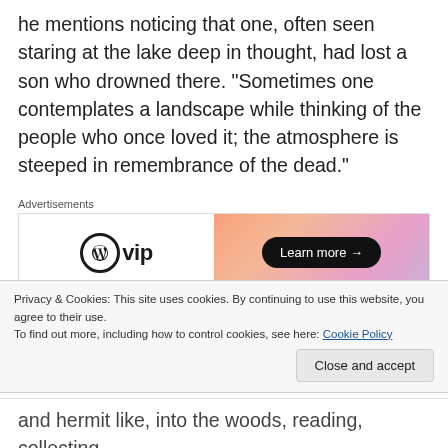he mentions noticing that one, often seen staring at the lake deep in thought, had lost a son who drowned there. “Sometimes one contemplates a landscape while thinking of the people who once loved it; the atmosphere is steeped in remembrance of the dead.”
Advertisements
[Figure (other): WordPress VIP advertisement banner with gradient orange-pink background and 'Learn more →' button]
Tesson had visited Baikal years previously, and sensed something there that he needed, something
Privacy & Cookies: This site uses cookies. By continuing to use this website, you agree to their use.
To find out more, including how to control cookies, see here: Cookie Policy
and hermit like, into the woods, reading, collecting